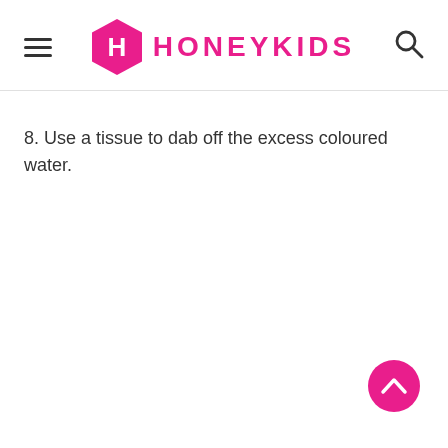HONEYKIDS
8. Use a tissue to dab off the excess coloured water.